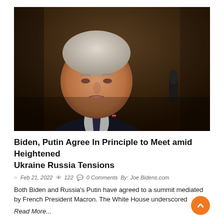[Figure (photo): President Biden looking downward at a podium with microphones, wearing a dark suit and tie, against a dark wooden background.]
Biden, Putin Agree In Principle to Meet amid Heightened Ukraine Russia Tensions
Feb 21, 2022  122  0 Comments  By: Joe Bidens.com
Both Biden and Russia's Putin have agreed to a summit mediated by French President Macron. The White House underscored
Read More...